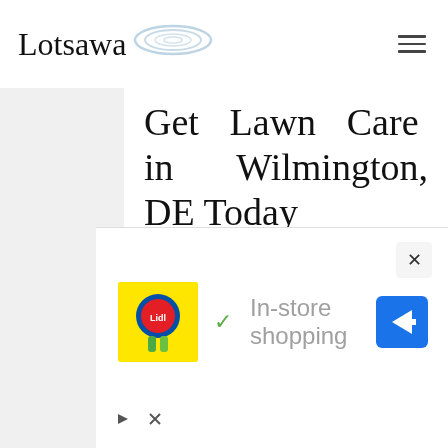Lotsawa
Get Lawn Care in Wilmington, DE Today
View the different mulch options we have available for installation, including our most popular Premium Bark Mulch. We have fantastic customer service. Above all, we want to help you with all your lawn service and landscaping needs.
Let us know your goals, your concerns, and any problems you have had in the
[Figure (screenshot): Advertisement overlay with Lidl logo, checkmark, 'In-store shopping' text, and a blue navigation arrow icon. Close (×) button at top right.]